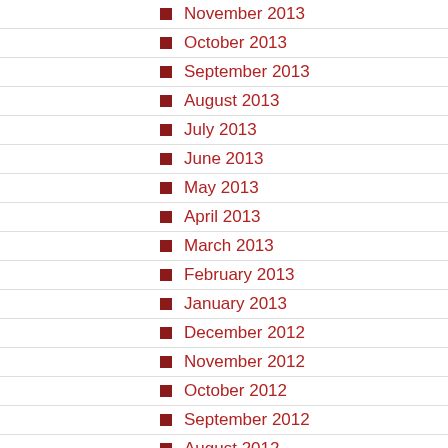November 2013
October 2013
September 2013
August 2013
July 2013
June 2013
May 2013
April 2013
March 2013
February 2013
January 2013
December 2012
November 2012
October 2012
September 2012
August 2012
July 2012
June 2012
May 2012
April 2012
March 2012